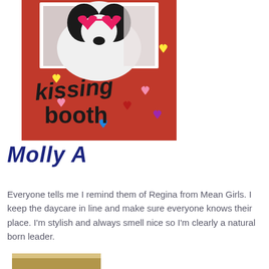[Figure (photo): A black and white dog wearing pink heart-shaped sunglasses sitting in a red kissing booth decorated with hearts. The booth has 'kissing booth' written in large black letters.]
Molly A
Everyone tells me I remind them of Regina from Mean Girls. I keep the daycare in line and make sure everyone knows their place. I'm stylish and always smell nice so I'm clearly a natural born leader.
[Figure (photo): Partially visible photo at the bottom of the page, showing another dog or animal.]